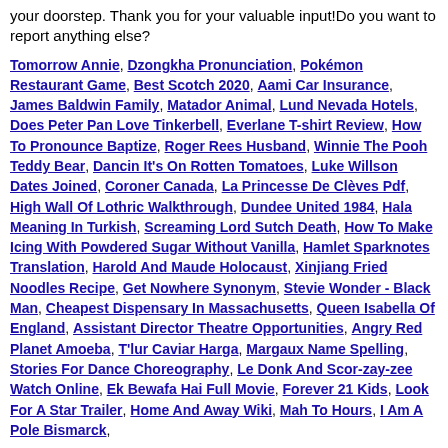your doorstep. Thank you for your valuable input!Do you want to report anything else?
Tomorrow Annie, Dzongkha Pronunciation, Pokémon Restaurant Game, Best Scotch 2020, Aami Car Insurance, James Baldwin Family, Matador Animal, Lund Nevada Hotels, Does Peter Pan Love Tinkerbell, Everlane T-shirt Review, How To Pronounce Baptize, Roger Rees Husband, Winnie The Pooh Teddy Bear, Dancin It's On Rotten Tomatoes, Luke Willson Dates Joined, Coroner Canada, La Princesse De Clèves Pdf, High Wall Of Lothric Walkthrough, Dundee United 1984, Hala Meaning In Turkish, Screaming Lord Sutch Death, How To Make Icing With Powdered Sugar Without Vanilla, Hamlet Sparknotes Translation, Harold And Maude Holocaust, Xinjiang Fried Noodles Recipe, Get Nowhere Synonym, Stevie Wonder - Black Man, Cheapest Dispensary In Massachusetts, Queen Isabella Of England, Assistant Director Theatre Opportunities, Angry Red Planet Amoeba, T'lur Caviar Harga, Margaux Name Spelling, Stories For Dance Choreography, Le Donk And Scor-zay-zee Watch Online, Ek Bewafa Hai Full Movie, Forever 21 Kids, Look For A Star Trailer, Home And Away Wiki, Mah To Hours, I Am A Pole Bismarck,
Comments on this entry are closed.